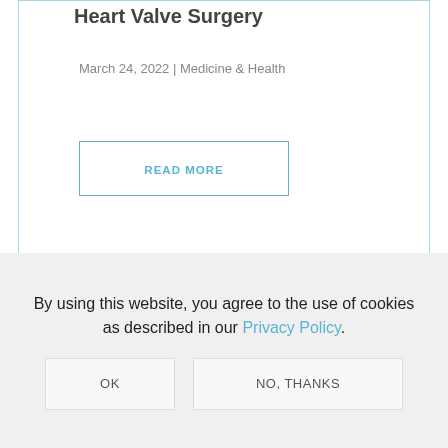Heart Valve Surgery
March 24, 2022 | Medicine & Health
READ MORE
By using this website, you agree to the use of cookies as described in our Privacy Policy.
OK
NO, THANKS